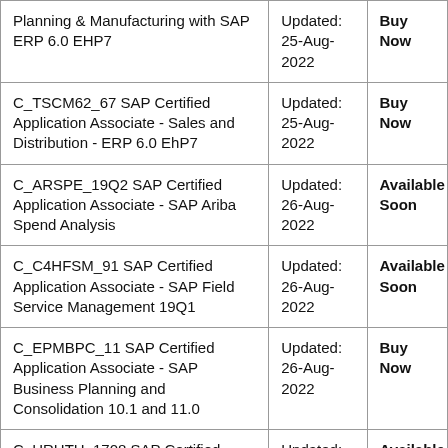| Planning & Manufacturing with SAP ERP 6.0 EHP7 | Updated: 25-Aug-2022 | Buy Now |
| C_TSCM62_67 SAP Certified Application Associate - Sales and Distribution - ERP 6.0 EhP7 | Updated: 25-Aug-2022 | Buy Now |
| C_ARSPE_19Q2 SAP Certified Application Associate - SAP Ariba Spend Analysis | Updated: 26-Aug-2022 | Available Soon |
| C_C4HFSM_91 SAP Certified Application Associate - SAP Field Service Management 19Q1 | Updated: 26-Aug-2022 | Available Soon |
| C_EPMBPC_11 SAP Certified Application Associate - SAP Business Planning and Consolidation 10.1 and 11.0 | Updated: 26-Aug-2022 | Buy Now |
| C_HRHTH_1708 SAP Certified Application Associate - SAP SuccessFactors Talent Hybrid (1708) | Updated: 26-Aug-2022 | Available Soon |